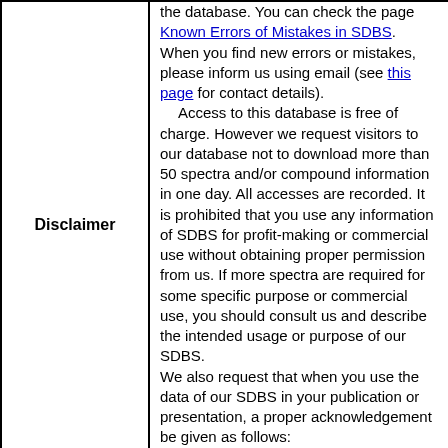| Disclaimer | the database. You can check the page Known Errors of Mistakes in SDBS. When you find new errors or mistakes, please inform us using email (see this page for contact details).
  Access to this database is free of charge. However we request visitors to our database not to download more than 50 spectra and/or compound information in one day. All accesses are recorded. It is prohibited that you use any information of SDBS for profit-making or commercial use without obtaining proper permission from us. If more spectra are required for some specific purpose or commercial use, you should consult us and describe the intended usage or purpose of our SDBS.
We also request that when you use the data of our SDBS in your publication or presentation, a proper acknowledgement be given as follows:
SDBSWeb : https://sdbs.db.aist.go.jp (National Institute of Advanced Industrial Science and Technology, date of access) |